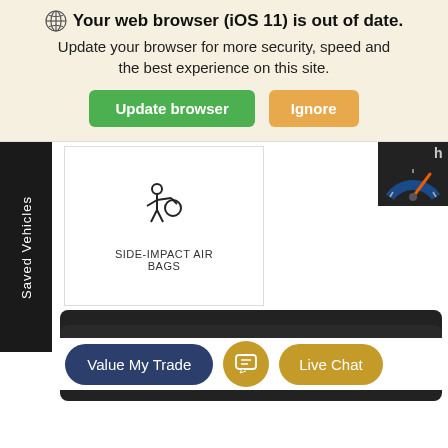[Figure (screenshot): Browser warning banner with globe icon, bold text 'Your web browser (iOS 11) is out of date.', subtext 'Update your browser for more security, speed and the best experience on this site.', green 'Update browser' button and tan 'Ignore' button.]
[Figure (screenshot): Automotive dealership website screenshot showing side-impact air bags feature card, 'Saved Vehicles' vertical sidebar, thumbnail of speedometer, SCHEDULE TEST DRIVE and CHECK AVAILABILITY dark buttons, and ACCESSORIES partial button. Bottom bar has 'Value My Trade', chat icon, and 'Live Chat' buttons.]